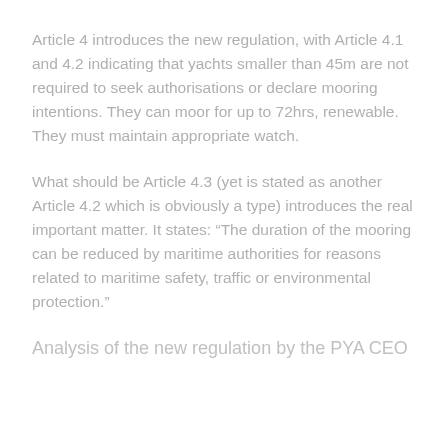Article 4 introduces the new regulation, with Article 4.1 and 4.2 indicating that yachts smaller than 45m are not required to seek authorisations or declare mooring intentions. They can moor for up to 72hrs, renewable. They must maintain appropriate watch.
What should be Article 4.3 (yet is stated as another Article 4.2 which is obviously a type) introduces the real important matter. It states: “The duration of the mooring can be reduced by maritime authorities for reasons related to maritime safety, traffic or environmental protection.”
Analysis of the new regulation by the PYA CEO